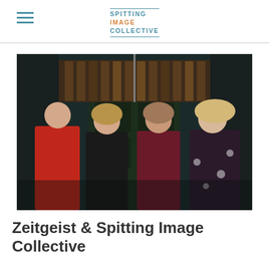SPITTING IMAGE COLLECTIVE
[Figure (photo): Four people (one man in red shirt and three women) standing in front of a dark wooden door with decorative wooden lattice above it, posing for a group portrait indoors.]
Zeitgeist & Spitting Image Collective